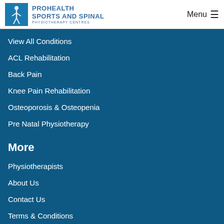PROHEALTH SPORTS AND SPINAL PHYSIOTHERAPY CENTRES | Menu
View All Conditions
ACL Rehabilitation
Back Pain
Knee Pain Rehabilitation
Osteoporosis & Osteopenia
Pre Natal Physiotherapy
More
Physiotherapists
About Us
Contact Us
Terms & Conditions
Privacy Policy